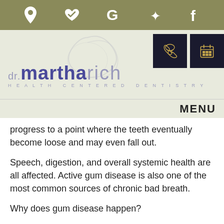[Figure (screenshot): Top navigation bar with olive/khaki background containing social/location icons: map pin, heart with checkmark, Google G, Yelp star, Facebook f — all in white]
[Figure (logo): Dr. Martha Rich Health Centered Dentistry logo on light sage green background, with decorative tooth swirl watermark. Two dark buttons on the right: phone icon and calendar icon in gold on dark background.]
MENU
progress to a point where the teeth eventually become loose and may even fall out.
Speech, digestion, and overall systemic health are all affected. Active gum disease is also one of the most common sources of chronic bad breath.
Why does gum disease happen?
There are many factors that can influence the body's natural ability to fight oral bacteria.